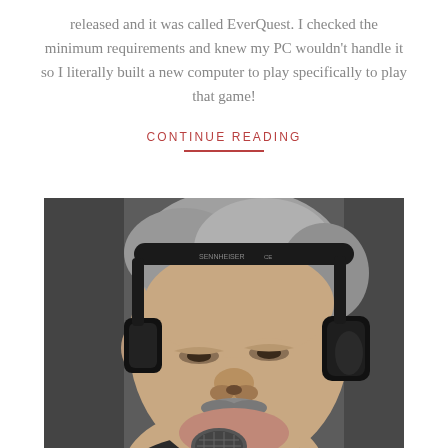released and it was called EverQuest. I checked the minimum requirements and knew my PC wouldn't handle it so I literally built a new computer to play specifically to play that game!
CONTINUE READING
[Figure (photo): Close-up photo of a middle-aged man with grey hair wearing black Sennheiser headphones and speaking or singing into a microphone. He appears to be in a recording or broadcast setting.]